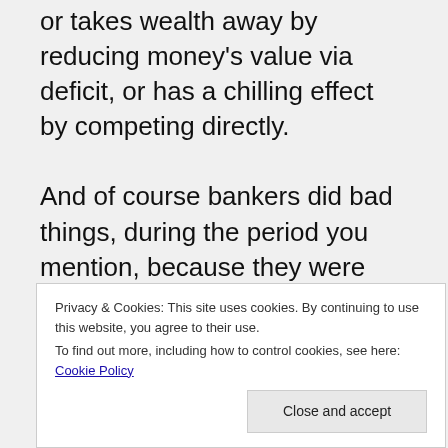or takes wealth away by reducing money's value via deficit, or has a chilling effect by competing directly.
And of course bankers did bad things, during the period you mention, because they were part of a socialist, crony system, not capitalism. Banks were set up for
reward for being more
Privacy & Cookies: This site uses cookies. By continuing to use this website, you agree to their use. To find out more, including how to control cookies, see here: Cookie Policy
Close and accept